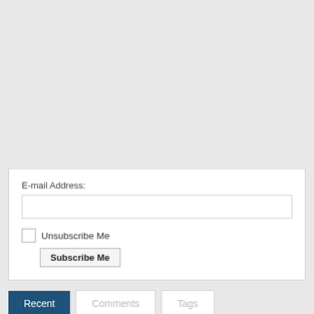E-mail Address:
Unsubscribe Me
Subscribe Me
Recent
Comments
Tags